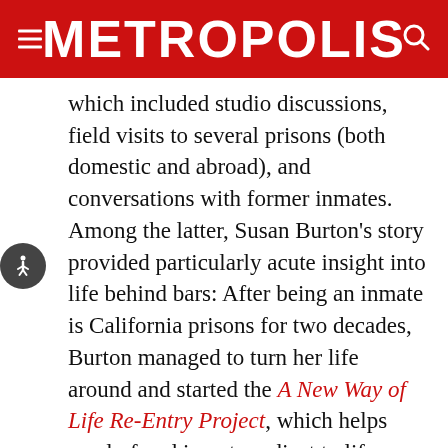METROPOLIS
which included studio discussions, field visits to several prisons (both domestic and abroad), and conversations with former inmates. Among the latter, Susan Burton's story provided particularly acute insight into life behind bars: After being an inmate is California prisons for two decades, Burton managed to turn her life around and started the A New Way of Life Re-Entry Project, which helps newly freed inmates adjust to life outside. “I have had firsthand experience what it feels like to be in there,